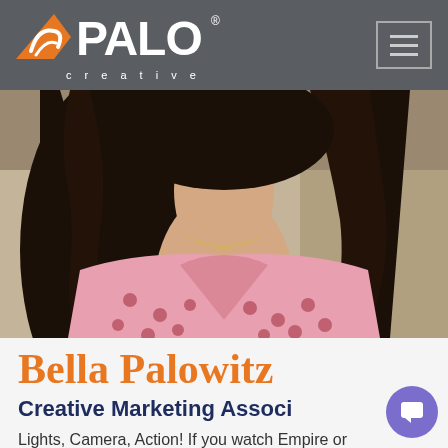PALO creative
[Figure (photo): Profile photo of Bella Palowitz, a woman with long dark wavy hair wearing a pink polka dot blouse, seated on a light-colored couch, visible from shoulders up with a necklace visible]
Bella Palowitz
Creative Marketing Associ
Lights, Camera, Action! If you watch Empire or